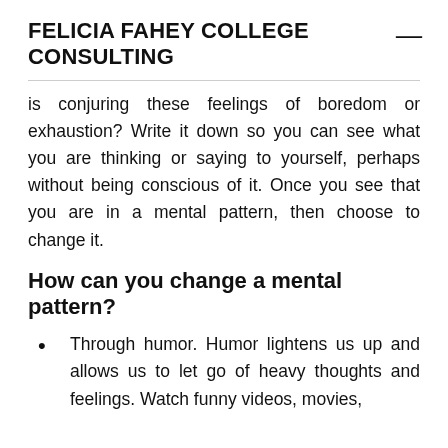FELICIA FAHEY COLLEGE CONSULTING
is conjuring these feelings of boredom or exhaustion? Write it down so you can see what you are thinking or saying to yourself, perhaps without being conscious of it. Once you see that you are in a mental pattern, then choose to change it.
How can you change a mental pattern?
Through humor. Humor lightens us up and allows us to let go of heavy thoughts and feelings. Watch funny videos, movies,